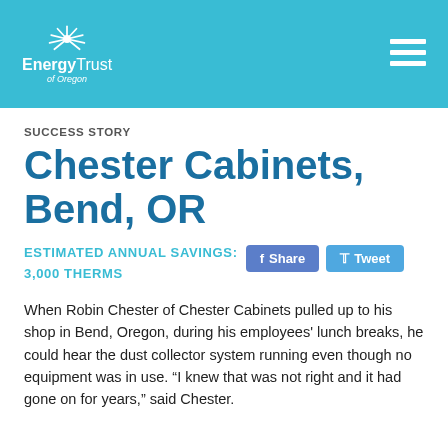[Figure (logo): Energy Trust of Oregon logo with sunburst icon and hamburger menu on teal header background]
SUCCESS STORY
Chester Cabinets, Bend, OR
ESTIMATED ANNUAL SAVINGS: 3,000 THERMS
When Robin Chester of Chester Cabinets pulled up to his shop in Bend, Oregon, during his employees' lunch breaks, he could hear the dust collector system running even though no equipment was in use. "I knew that was not right and it had gone on for years," said Chester.